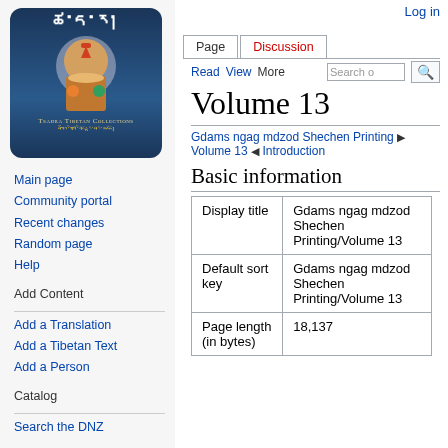Log in
[Figure (logo): Tsadra Tibetan Collections logo with Tibetan script and Buddhist figure illustration]
Main page
Community portal
Recent changes
Random page
Help
Add Content
Add a Translation
Add a Tibetan Text
Add a Person
Catalog
Search the DNZ
Volume 13
Gdams ngag mdzod Shechen Printing ▶ Volume 13 ◀ Introduction
Basic information
|  |  |
| --- | --- |
| Display title | Gdams ngag mdzod Shechen Printing/Volume 13 |
| Default sort key | Gdams ngag mdzod Shechen Printing/Volume 13 |
| Page length (in bytes) | 18,137 |